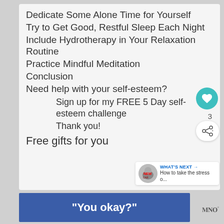Dedicate Some Alone Time for Yourself
Try to Get Good, Restful Sleep Each Night
Include Hydrotherapy in Your Relaxation Routine
Practice Mindful Meditation
Conclusion
Need help with your self-esteem?
Sign up for my FREE 5 Day self-esteem challenge
Thank you!
Free gifts for you
[Figure (other): Teal circular heart/like button with count 3, and a share button below]
[Figure (other): What's Next panel with thumbnail image and text: How to take the stress o...]
[Figure (other): Blue advertisement banner with text: You okay?]